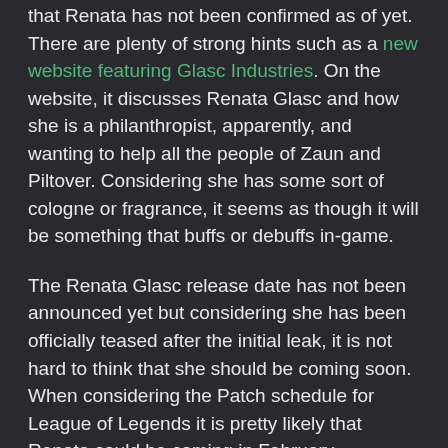that Renata has not been confirmed as of yet. There are plenty of strong hints such as a new website featuring Glasc Industries. On the website, it discusses Renata Glasc and how she is a philanthropist, apparently, and wanting to help all the people of Zaun and Piltover. Considering she has some sort of cologne or fragrance, it seems as though it will be something that buffs or debuffs in-game.
The Renata Glasc release date has not been announced yet but considering she has been officially teased after the initial leak, it is not hard to think that she should be coming soon. When considering the Patch schedule for League of Legends it is pretty likely that Renata could be coming in February.
Considering the patches, it looks like the Renata Glasc PBE Release Date will be with Patch 12.3 on February 2 or Patch 12.4 on February 16. Then the main Renata Release date will likely be with Patch 12.4 on February 16 or Patch 12.5 on March 2.